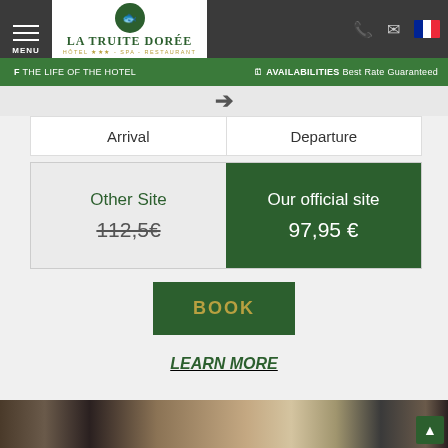MENU | LA TRUITE DORÉE HÔTEL ★★★ - SPA - RESTAURANT
f The Life of the Hotel | 🗓 AVAILABILITIES Best Rate Guaranteed
| Arrival | Departure |
| --- | --- |
| Other Site | Our official site |
| --- | --- |
| 112,5€ | 97,95 € |
BOOK
LEARN MORE
[Figure (photo): Interior room photo showing window with outdoor view]